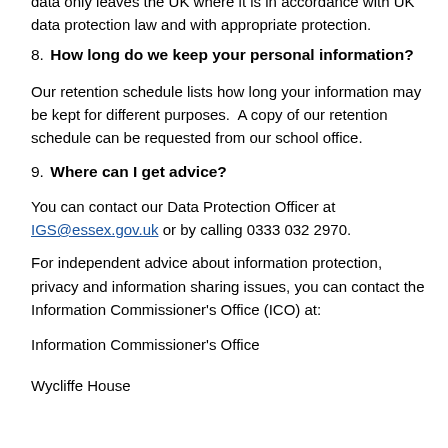data only leaves the UK where it is in accordance with UK data protection law and with appropriate protection.
8. How long do we keep your personal information?
Our retention schedule lists how long your information may be kept for different purposes. A copy of our retention schedule can be requested from our school office.
9. Where can I get advice?
You can contact our Data Protection Officer at IGS@essex.gov.uk or by calling 0333 032 2970.
For independent advice about information protection, privacy and information sharing issues, you can contact the Information Commissioner's Office (ICO) at:
Information Commissioner's Office
Wycliffe House